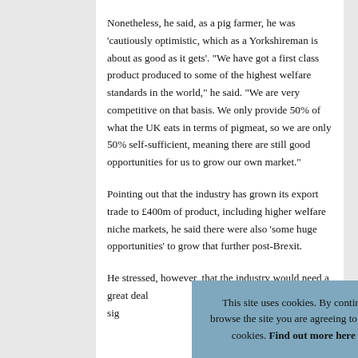Nonetheless, he said, as a pig farmer, he was 'cautiously optimistic, which as a Yorkshireman is about as good as it gets'. "We have got a first class product produced to some of the highest welfare standards in the world," he said. "We are very competitive on that basis. We only provide 50% of what the UK eats in terms of pigmeat, so we are only 50% self-sufficient, meaning there are still good opportunities for us to grow our own market."
Pointing out that the industry has grown its export trade to £400m of product, including higher welfare niche markets, he said there were also 'some huge opportunities' to grow that further post-Brexit.
He stressed, however, that the industry would need a great deal ... to be any sig... Brexit.
This site uses cookies. By continuing to browse the site you are agreeing to our use of cookies. Find out more here    [X]